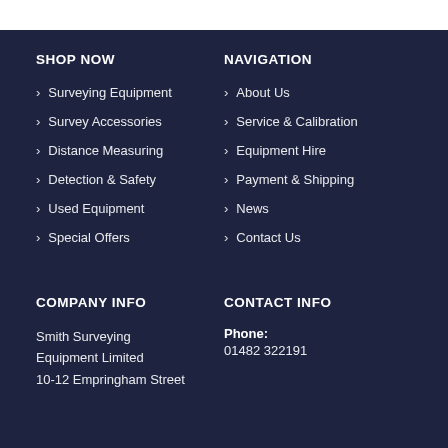SHOP NOW
Surveying Equipment
Survey Accessories
Distance Measuring
Detection & Safety
Used Equipment
Special Offers
NAVIGATION
About Us
Service & Calibration
Equipment Hire
Payment & Shipping
News
Contact Us
COMPANY INFO
Smith Surveying Equipment Limited
10-12 Empringham Street
CONTACT INFO
Phone:
01482 322191